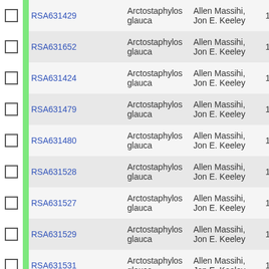|  |  | ID | Species | Collector | Date | Num |
| --- | --- | --- | --- | --- | --- | --- |
|  |  | RSA631429 | Arctostaphylos glauca | Allen Massihi, Jon E. Keeley | 1992-7-8 | 15… |
|  |  | RSA631652 | Arctostaphylos glauca | Allen Massihi, Jon E. Keeley | 1992-7-8 | 15… |
|  |  | RSA631424 | Arctostaphylos glauca | Allen Massihi, Jon E. Keeley | 1992-7-8 | 15… |
|  |  | RSA631479 | Arctostaphylos glauca | Allen Massihi, Jon E. Keeley | 1992-7-8 | 15… |
|  |  | RSA631480 | Arctostaphylos glauca | Allen Massihi, Jon E. Keeley | 1992-7-8 | 15… |
|  |  | RSA631528 | Arctostaphylos glauca | Allen Massihi, Jon E. Keeley | 1992-7-8 | 15… |
|  |  | RSA631527 | Arctostaphylos glauca | Allen Massihi, Jon E. Keeley | 1992-7-8 | 15… |
|  |  | RSA631529 | Arctostaphylos glauca | Allen Massihi, Jon E. Keeley | 1992-7-8 | 15… |
|  |  | RSA631531 | Arctostaphylos glauca | Allen Massihi, Jon E. Keeley | 1992-7-8 | 15… |